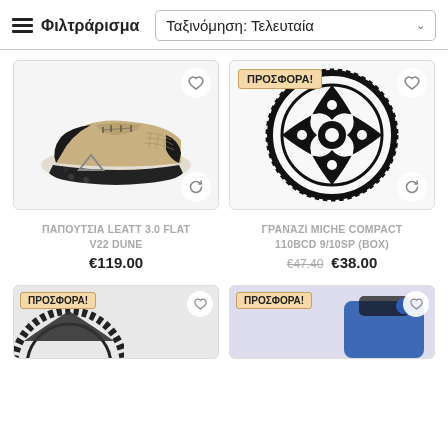Φιλτράρισμα   Ταξινόμηση: Τελευταία
[Figure (photo): Beige/tan flat cycling shoe with black sole and laces, Leatt brand logo]
ΠΑΠΟΥΤΣΙΑ LEATT 3.0 FLAT V22 DUNE
€119.00
[Figure (photo): Black chainring/sprocket - Miche Compact 110BCD 9/10SP (BOX), with ΠΡΟΣΦΟΡΑ! badge]
ΓΡΑΝΆΖΙ MICHE COMPACT 110BCD 9/10SP (BOX)
€47.40  €38.00
[Figure (photo): Bottom-left partial product image with ΠΡΟΣΦΟΡΑ! badge, appears to be a dark chainring]
[Figure (photo): Bottom-right partial product image with ΠΡΟΣΦΟΡΑ! badge, appears to be a blue/black item]